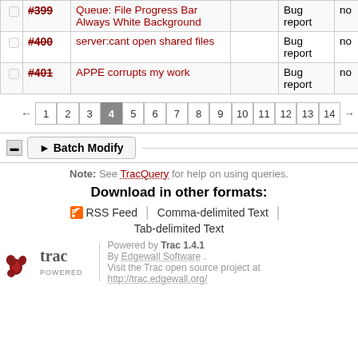|  | Ticket | Summary | Owner | Type |  |
| --- | --- | --- | --- | --- | --- |
| ☐ | #399 | Queue: File Progress Bar Always White Background |  | Bug report | no |
| ☐ | #400 | server:cant open shared files |  | Bug report | no |
| ☐ | #401 | APPE corrupts my work |  | Bug report | no |
← 1 2 3 4 5 6 7 8 9 10 11 12 13 14 →
► Batch Modify
Note: See TracQuery for help on using queries.
Download in other formats:
RSS Feed | Comma-delimited Text | Tab-delimited Text
Powered by Trac 1.4.1
By Edgewall Software .
Visit the Trac open source project at
http://trac.edgewall.org/